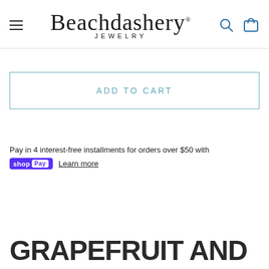[Figure (logo): Beachdashery Jewelry logo with script font and hamburger menu, search icon, and cart icon in header]
ADD TO CART
Pay in 4 interest-free installments for orders over $50 with shop Pay Learn more
GRAPEFRUIT AND